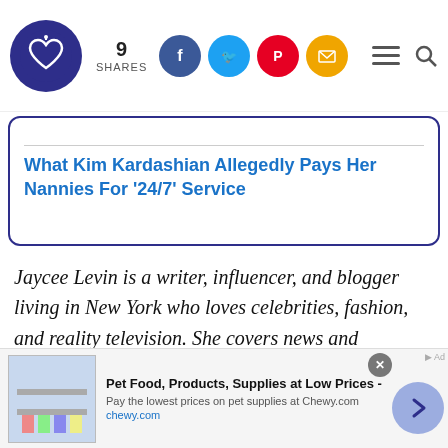9 SHARES — social share bar with Facebook, Twitter, Pinterest, Email icons
What Kim Kardashian Allegedly Pays Her Nannies For '24/7' Service
Jaycee Levin is a writer, influencer, and blogger living in New York who loves celebrities, fashion, and reality television. She covers news and entertainment for Yourtango. Follow her on Instagram.
[Figure (screenshot): Advertisement banner for Chewy.com: Pet Food, Products, Supplies at Low Prices - Pay the lowest prices on pet supplies at Chewy.com]